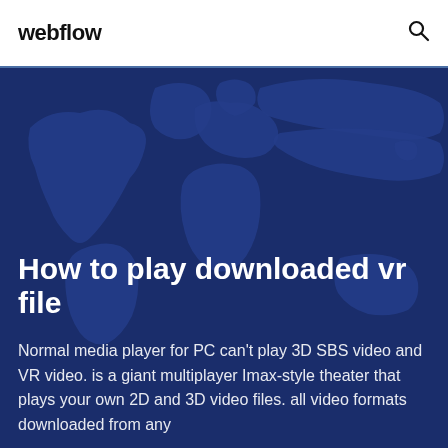webflow
How to play downloaded vr file
Normal media player for PC can't play 3D SBS video and VR video. is a giant multiplayer Imax-style theater that plays your own 2D and 3D video files. all video formats downloaded from any
[Figure (illustration): Dark blue world map silhouette used as hero background image]